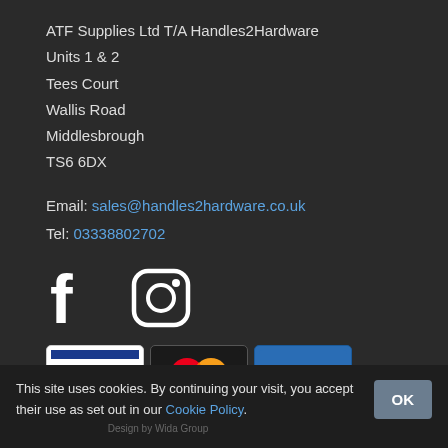ATF Supplies Ltd T/A Handles2Hardware
Units 1 & 2
Tees Court
Wallis Road
Middlesbrough
TS6 6DX
Email: sales@handles2hardware.co.uk
Tel: 03338802702
[Figure (logo): Facebook and Instagram social media icons in white on dark background]
[Figure (logo): Payment method logos: Visa, MasterCard, American Express]
This site uses cookies. By continuing your visit, you accept their use as set out in our Cookie Policy.